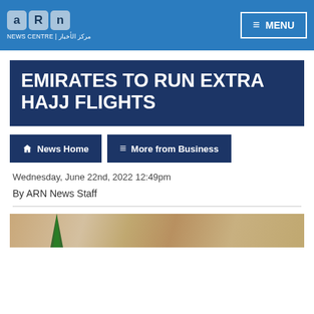ARN News Centre - MENU
EMIRATES TO RUN EXTRA HAJJ FLIGHTS
News Home
More from Business
Wednesday, June 22nd, 2022 12:49pm
By ARN News Staff
[Figure (photo): Partial view of an Emirates aircraft tail fin against a blurred background]